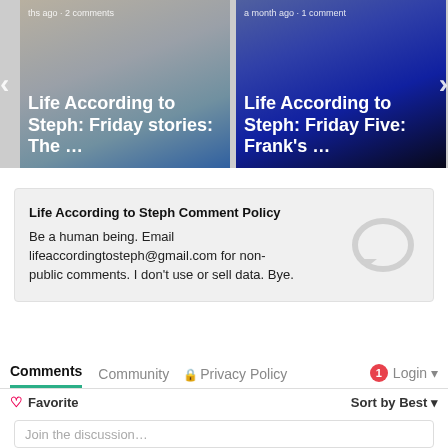[Figure (screenshot): Blog post carousel showing two cards. Left card: 'ths ago · 2 comments' meta, title 'Life According to Steph: Friday stories: The …'. Right card: 'a month ago · 1 comment' meta, title 'Life According to Steph: Friday Five: Frank's …'. Navigation arrows on left and right.]
Life According to Steph Comment Policy
Be a human being. Email lifeaccordingtosteph@gmail.com for non-public comments. I don't use or sell data. Bye.
Comments   Community   🔒 Privacy Policy   1   Login ▾
♡ Favorite   Sort by Best ▾
Join the discussion…